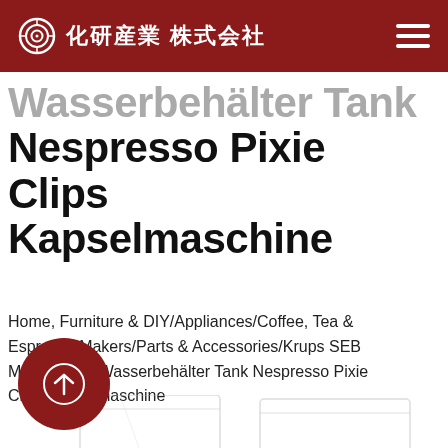化研産業 株式会社
Wasserbehälter Tank Nespresso Pixie Clips Kapselmaschine
Home, Furniture & DIY/Appliances/Coffee, Tea & Espresso Makers/Parts & Accessories/Krups SEB MS0067944 Wasserbehälter Tank Nespresso Pixie Clips Kapselmaschine
[Figure (photo): Transparent water tank / Wasserbehälter product photo, partially visible at the bottom of the page]